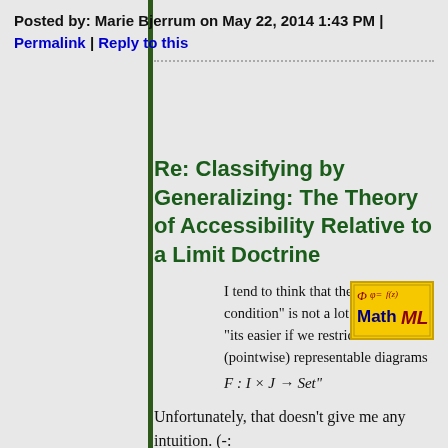Posted by: Marie Bjerrum on May 22, 2014 1:43 PM | Permalink | Reply to this
Re: Classifying by Generalizing: The Theory of Accessibility Relative to a Limit Doctrine
I tend to think that the “soundness condition” is not a lot more than “its easier if we restrict to (pointwise) representable diagrams F: I × J → Set”
[Figure (logo): MathML badge with mathematical notation on yellow/orange background]
Unfortunately, that doesn’t give me any intuition. (-:
(You can make math here by putting it in dollar-signs just as in TeX.)